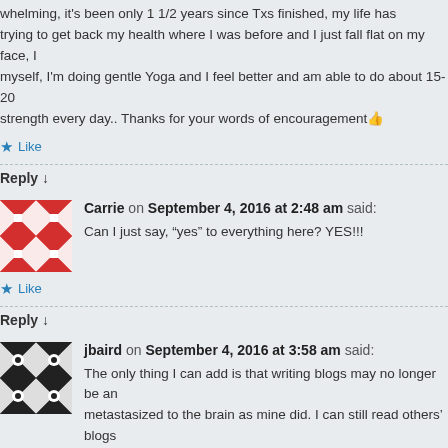whelming, it's been only 1 1/2 years since Txs finished, my life has been trying to get back my health where I was before and I just fall flat on my face, I myself, I'm doing gentle Yoga and I feel better and am able to do about 15-20 strength every day.. Thanks for your words of encouragement 👍
★ Like
Reply ↓
Carrie on September 4, 2016 at 2:48 am said:
Can I just say, "yes" to everything here? YES!!!
★ Like
Reply ↓
jbaird on September 4, 2016 at 3:58 am said:
The only thing I can add is that writing blogs may no longer be an metastasized to the brain as mine did. I can still read others' blogs slowly. Wish I had known that tidbit earlier so that I could tell other blog. The brain mets was a huge loss to me and others may have thought I ha social or a deliberate lurker. I am still around and love to read others' musings.